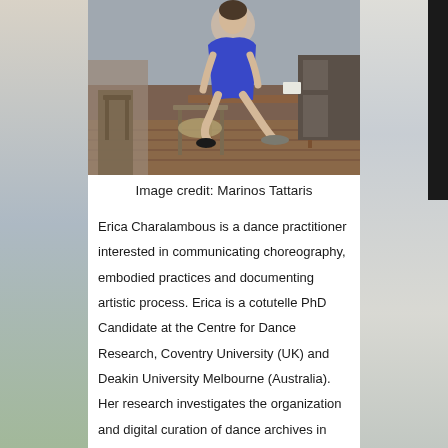[Figure (photo): A person in a blue dress posing on chairs/tables in a cafe or restaurant setting with brick flooring and wooden furniture.]
Image credit: Marinos Tattaris
Erica Charalambous is a dance practitioner interested in communicating choreography, embodied practices and documenting artistic process. Erica is a cotutelle PhD Candidate at the Centre for Dance Research, Coventry University (UK) and Deakin University Melbourne (Australia). Her research investigates the organization and digital curation of dance archives in Germany, UK